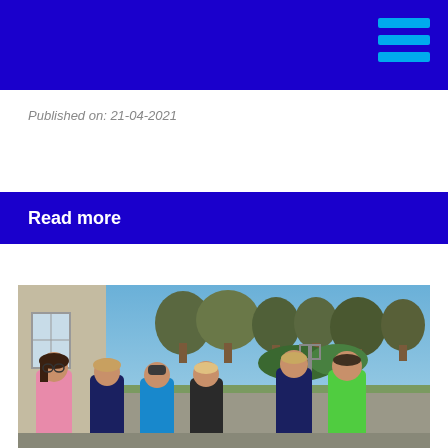Published on: 21-04-2021
Read more
[Figure (photo): Group of six children/students standing outside a school building on a sunny day with trees in the background. They are wearing various coloured hoodies/sweatshirts including pink, navy, blue, black, navy and green.]